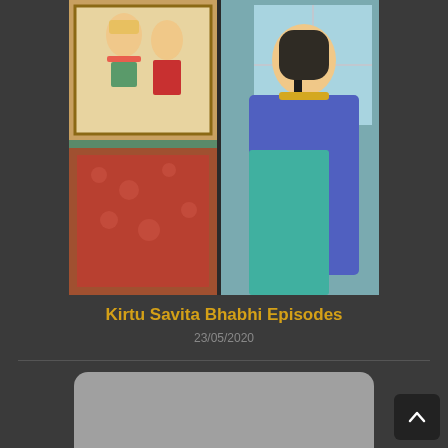[Figure (illustration): Comic illustration showing Indian characters - a wedding photo frame with a man in turban and woman, and a woman in blue saree standing near a window]
Kirtu Savita Bhabhi Episodes
23/05/2020
[Figure (screenshot): Gray advertisement area with close button (X) and a dark pill-shaped download banner for Comics Valley Android App with Android robot icon and Comics Valley logo]
Download Comics Valley ANDROID APP